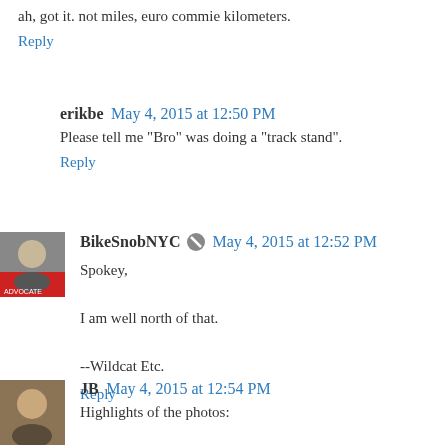ah, got it. not miles, euro commie kilometers.
Reply
erikbe  May 4, 2015 at 12:50 PM
Please tell me "Bro" was doing a "track stand".
Reply
BikeSnobNYC  May 4, 2015 at 12:52 PM
Spokey,

I am well north of that.

--Wildcat Etc.
Reply
JB  May 4, 2015 at 12:54 PM
Highlights of the photos: